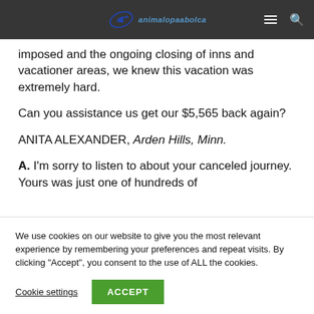animalopaabolca [logo/nav bar]
imposed and the ongoing closing of inns and vacationer areas, we knew this vacation was extremely hard.
Can you assistance us get our $5,565 back again?
ANITA ALEXANDER, Arden Hills, Minn.
A. I'm sorry to listen to about your canceled journey. Yours was just one of hundreds of
We use cookies on our website to give you the most relevant experience by remembering your preferences and repeat visits. By clicking "Accept", you consent to the use of ALL the cookies.
Cookie settings
ACCEPT